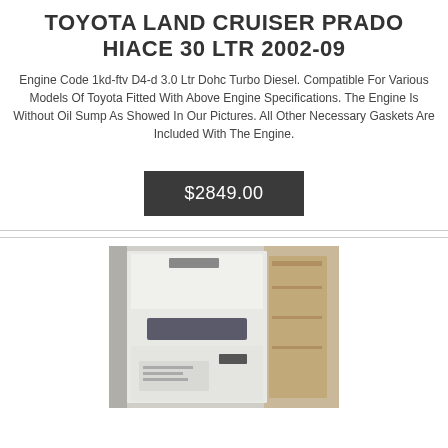TOYOTA LAND CRUISER PRADO HIACE 30 LTR 2002-09
Engine Code 1kd-ftv D4-d 3.0 Ltr Dohc Turbo Diesel. Compatible For Various Models Of Toyota Fitted With Above Engine Specifications. The Engine Is Without Oil Sump As Showed In Our Pictures. All Other Necessary Gaskets Are Included With The Engine.
$2849.00
[Figure (photo): Photo of a Toyota engine wrapped in packaging/crating, showing a white or light-colored engine block with components visible, stored among wooden crates or cardboard in a warehouse setting.]